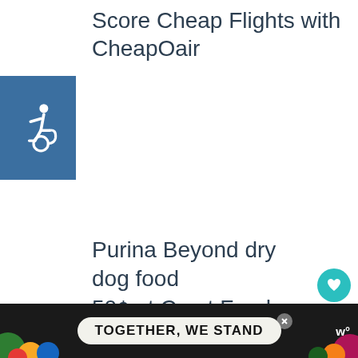Score Cheap Flights with CheapOair
[Figure (logo): Accessibility wheelchair icon on blue background]
Purina Beyond dry dog food 50¢ at Crest Foods
[Figure (infographic): Heart/like button (teal circle), share button, count '1']
[Figure (screenshot): Fetch Rewards advertisement: More Brands. More Rewards. Fetch Rewards logo. With 'WHAT'S NEXT → Easy Messy Bun for Lon...' sidebar.]
[Figure (infographic): Bottom advertisement banner: 'TOGETHER, WE STAND' with colorful background, close button, and 'w°' logo on dark background]